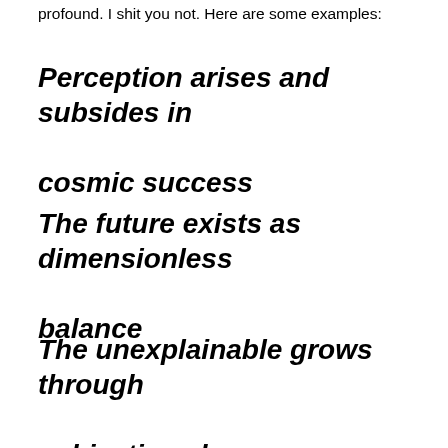profound. I shit you not. Here are some examples:
Perception arises and subsides in cosmic success
The future exists as dimensionless balance
The unexplainable grows through subjective phenomena